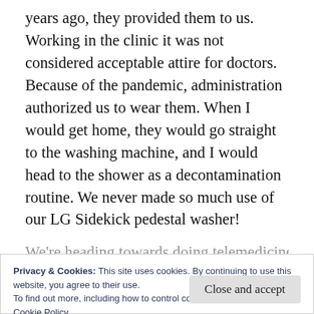years ago, they provided them to us. Working in the clinic it was not considered acceptable attire for doctors. Because of the pandemic, administration authorized us to wear them. When I would get home, they would go straight to the washing machine, and I would head to the shower as a decontamination routine. We never made so much use of our LG Sidekick pedestal washer!
We're heading towards doing telemedicine in a
Privacy & Cookies: This site uses cookies. By continuing to use this website, you agree to their use.
To find out more, including how to control cookies, see here:
Cookie Policy
Close and accept
restrictions and how we are reimbursed has